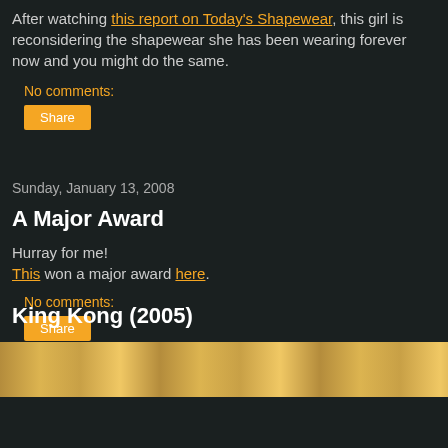After watching this report on Today's Shapewear, this girl is reconsidering the shapewear she has been wearing forever now and you might do the same.
No comments:
Share
Sunday, January 13, 2008
A Major Award
Hurray for me! This won a major award here.
No comments:
Share
King Kong (2005)
[Figure (photo): Bottom strip showing partial image, warm golden/brown tones]